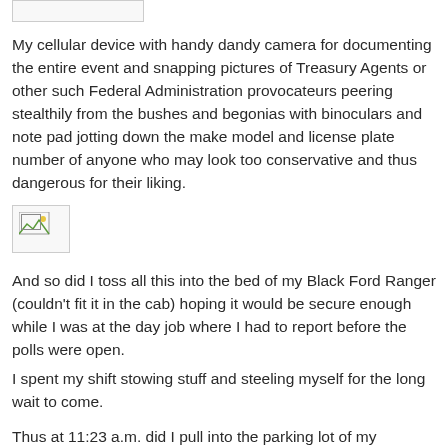[Figure (other): Broken/missing image placeholder at top of page]
My cellular device with handy dandy camera for documenting the entire event and snapping pictures of Treasury Agents or other such Federal Administration provocateurs peering stealthily from the bushes and begonias with binoculars and note pad jotting down the make model and license plate number of anyone who may look too conservative and thus dangerous for their liking.
[Figure (other): Broken/missing image placeholder in middle of page]
And so did I toss all this into the bed of my Black Ford Ranger (couldn't fit it in the cab) hoping it would be secure enough while I was at the day job where I had to report before the polls were open.
I spent my shift stowing stuff and steeling myself for the long wait to come.
Thus at 11:23 a.m. did I pull into the parking lot of my